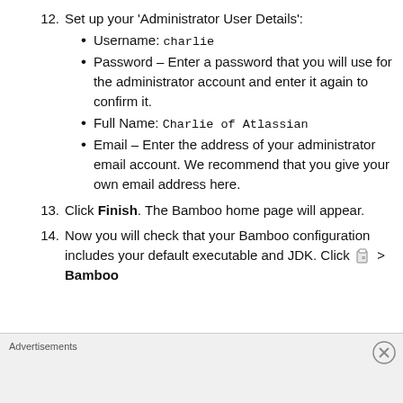12. Set up your 'Administrator User Details':
Username: charlie
Password – Enter a password that you will use for the administrator account and enter it again to confirm it.
Full Name: Charlie of Atlassian
Email – Enter the address of your administrator email account. We recommend that you give your own email address here.
13. Click Finish. The Bamboo home page will appear.
14. Now you will check that your Bamboo configuration includes your default executable and JDK. Click > Bamboo
Advertisements